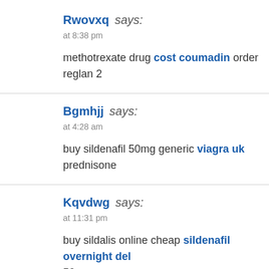Rwovxq says:
at 8:38 pm
methotrexate drug cost coumadin order reglan 2
Bgmhjj says:
at 4:28 am
buy sildenafil 50mg generic viagra uk prednisone
Kqvdwg says:
at 11:31 pm
buy sildalis online cheap sildenafil overnight del 50mg